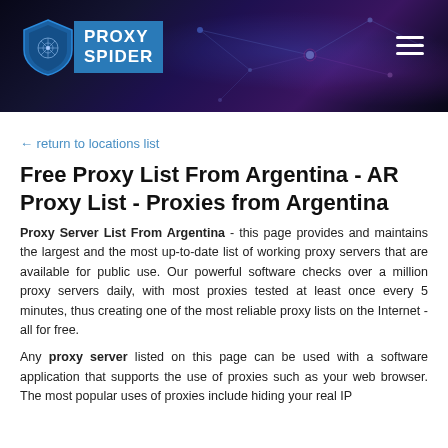[Figure (other): Proxy Spider website header banner with dark blue/purple network technology background, logo on left (shield icon with PROXY SPIDER text), hamburger menu icon on right]
← return to locations list
Free Proxy List From Argentina - AR Proxy List - Proxies from Argentina
Proxy Server List From Argentina - this page provides and maintains the largest and the most up-to-date list of working proxy servers that are available for public use. Our powerful software checks over a million proxy servers daily, with most proxies tested at least once every 5 minutes, thus creating one of the most reliable proxy lists on the Internet - all for free.
Any proxy server listed on this page can be used with a software application that supports the use of proxies such as your web browser. The most popular uses of proxies include hiding your real IP